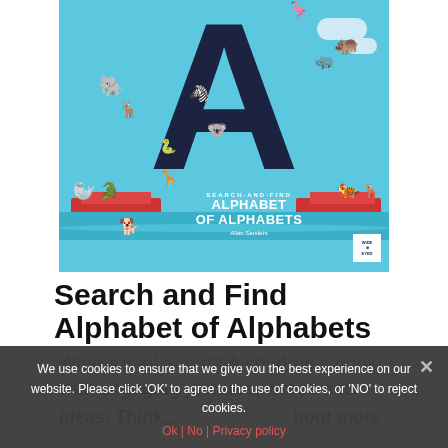[Figure (illustration): Book cover of 'Search-and-Find Alphabet of Alphabets' by Allan Sanders. A colorful children's book cover featuring a large letter A made of dark navy material, filled with illustrated animals. Published by Wide Eyed Editions. Sky blue background with clouds, animals on boats in water below.]
Search and Find Alphabet of Alphabets
What's it all about? A children's book with engaging pictures, words and ideas. Think...
We use cookies to ensure that we give you the best experience on our website. Please click 'OK' to agree to the use of cookies, or 'NO' to reject cookies.
Ok | No | Privacy policy